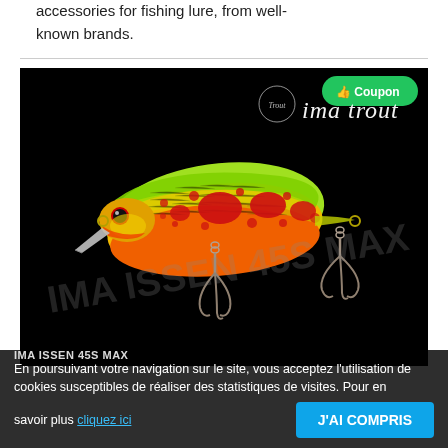accessories for fishing lure, from well-known brands.
[Figure (photo): A fishing lure (IMA ISSEN 45S MAX) against a black background, brightly colored in green, yellow, and orange with large red spots, featuring two treble hooks and a diving lip. The ima trout brand logo and name appear in the top right, along with a green 'Coupon' badge.]
En poursuivant votre navigation sur le site, vous acceptez l'utilisation de cookies susceptibles de réaliser des statistiques de visites. Pour en savoir plus cliquez ici
IMA ISSEN 45S MAX